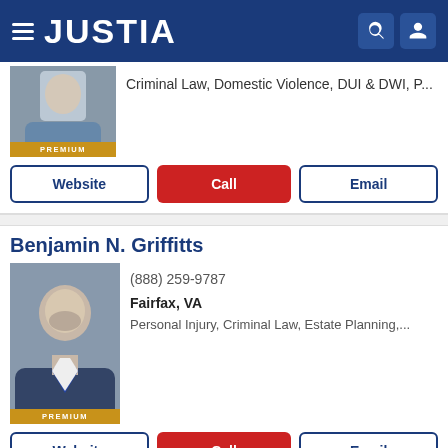JUSTIA
Criminal Law, Domestic Violence, DUI & DWI, P...
PREMIUM
Website | Call | Email
Benjamin N. Griffitts
(888) 259-9787
Fairfax, VA
Personal Injury, Criminal Law, Estate Planning,...
PREMIUM
Website | Call | Email
Merritt James Green PRO
McLean, VA
(703) 556 0411